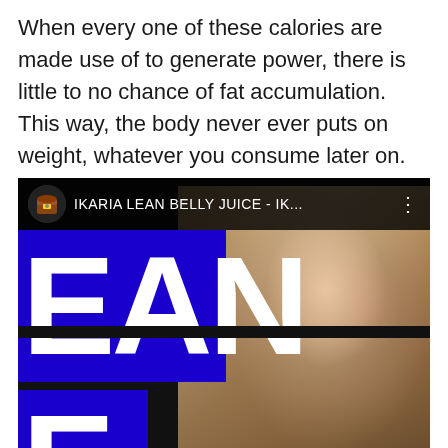When every one of these calories are made use of to generate power, there is little to no chance of fat accumulation. This way, the body never ever puts on weight, whatever you consume later on.
[Figure (screenshot): Screenshot of a YouTube video thumbnail showing 'IKARIA LEAN BELLY JUICE - IK...' with a woman's face on the right and large white letters 'EAN' on a blue background on the left, with partial letter 'E' visible at the bottom left.]